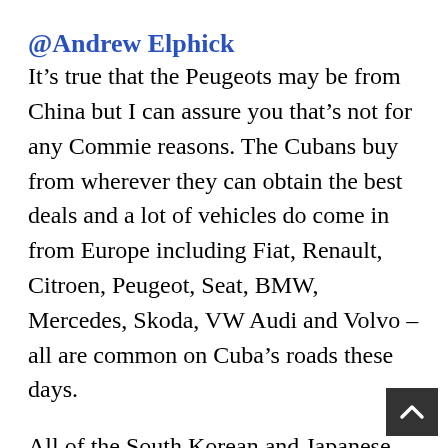@Andrew Elphick
It’s true that the Peugeots may be from China but I can assure you that’s not for any Commie reasons. The Cubans buy from wherever they can obtain the best deals and a lot of vehicles do come in from Europe including Fiat, Renault, Citroen, Peugeot, Seat, BMW, Mercedes, Skoda, VW Audi and Volvo – all are common on Cuba’s roads these days.
All of the South Korean and Japanese OEMs are also represented but what I started to see in the last couple of years